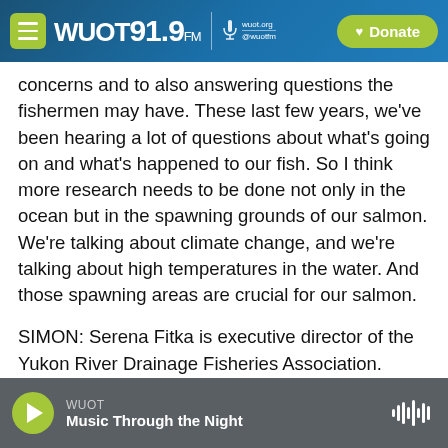WUOT 91.9 FM | wuot.org @wuotfm | Donate
concerns and to also answering questions the fishermen may have. These last few years, we've been hearing a lot of questions about what's going on and what's happened to our fish. So I think more research needs to be done not only in the ocean but in the spawning grounds of our salmon. We're talking about climate change, and we're talking about high temperatures in the water. And those spawning areas are crucial for our salmon.
SIMON: Serena Fitka is executive director of the Yukon River Drainage Fisheries Association. Thank you so much for speaking with us.
WUOT | Music Through the Night